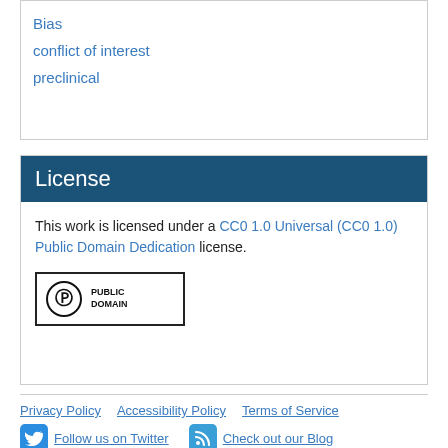Bias
conflict of interest
preclinical
License
This work is licensed under a CC0 1.0 Universal (CC0 1.0) Public Domain Dedication license.
[Figure (logo): Creative Commons Public Domain badge with circle-zero symbol and text PUBLIC DOMAIN]
Privacy Policy   Accessibility Policy   Terms of Service
Follow us on Twitter   Check out our Blog
Copyright (c) 2022 Dryad